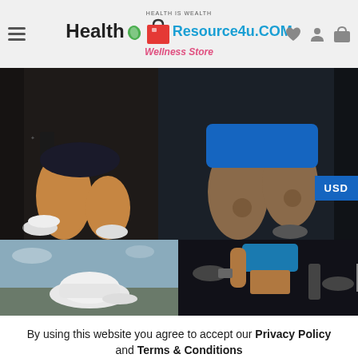[Figure (screenshot): Website header with hamburger menu, Health Resource4u.COM Wellness Store logo with leaf and shopping bag icon, and header icons (heart, person, cart)]
[Figure (photo): Main hero image showing gym workout: legs of two athletes exercising on gym equipment, dark background]
[Figure (photo): Bottom hero row: left half shows a white cap/hat on outdoor ground; right half shows woman in blue sports outfit with gym weights]
By using this website you agree to accept our Privacy Policy and Terms & Conditions
[Figure (screenshot): Black ACCEPT button for cookie consent]